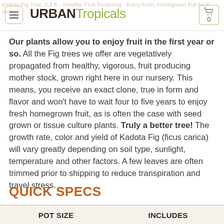URBAN Tropicals
Our plants allow you to enjoy fruit in the first year or so. All the Fig trees we offer are vegetatively propagated from healthy, vigorous, fruit producing mother stock, grown right here in our nursery. This means, you receive an exact clone, true in form and flavor and won't have to wait four to five years to enjoy fresh homegrown fruit, as is often the case with seed grown or tissue culture plants. Truly a better tree! The growth rate, color and yield of Kadota Fig (ficus carica) will vary greatly depending on soil type, sunlight, temperature and other factors. A few leaves are often trimmed prior to shipping to reduce transpiration and travel stress.
QUICK SPECS
| POT SIZE | INCLUDES |
| --- | --- |